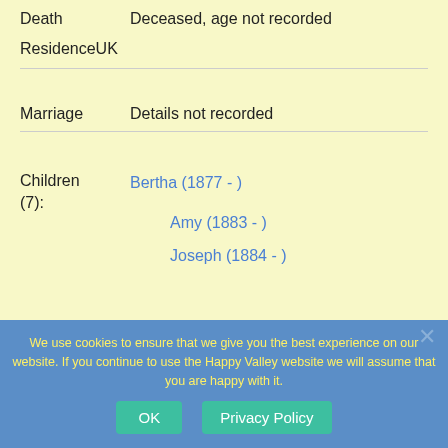Death    Deceased, age not recorded
ResidenceUK
Marriage   Details not recorded
Children (7):   Bertha (1877 - )   Amy (1883 - )   Joseph (1884 - )   Harold (1888 - )   Hilda (1890 - )   Ivy (1892 - )   John J (1898 - )
We use cookies to ensure that we give you the best experience on our website. If you continue to use the Happy Valley website we will assume that you are happy with it.